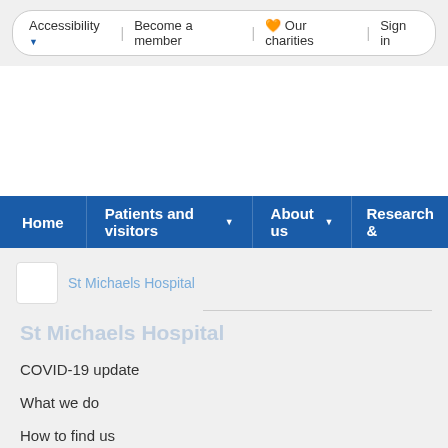Accessibility | Become a member | Our charities | Sign in
[Figure (screenshot): White banner area above navigation]
Home | Patients and visitors | About us | Research &
St Michaels Hospital
St Michaels Hospital
COVID-19 update
What we do
How to find us
Our wards
Contact us
Patient information videos